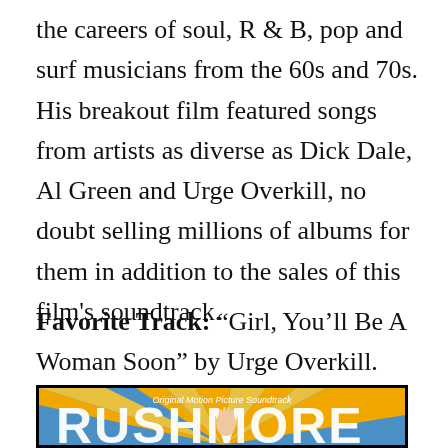the careers of soul, R & B, pop and surf musicians from the 60s and 70s. His breakout film featured songs from artists as diverse as Dick Dale, Al Green and Urge Overkill, no doubt selling millions of albums for them in addition to the sales of this film's soundtrack.
Favorite Track: “Girl, You’ll Be A Woman Soon” by Urge Overkill.
[Figure (photo): Album cover of the Rushmore Original Motion Picture Soundtrack, showing large stylized text 'RUSHMORE' with a fist raised, blue and yellow/orange ray background, dark border]